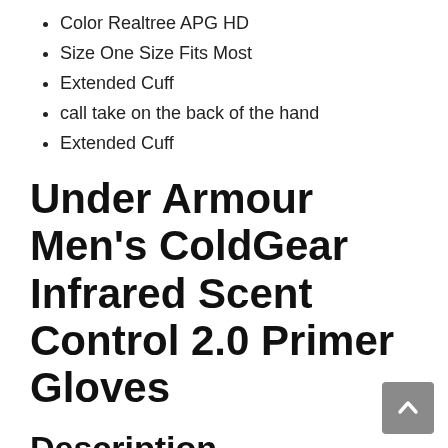Color Realtree APG HD
Size One Size Fits Most
Extended Cuff
call take on the back of the hand
Extended Cuff
Under Armour Men’s ColdGear Infrared Scent Control 2.0 Primer Gloves
Description
Under Armor, hunting gloves utilize their great ColdGear. You are covering to make